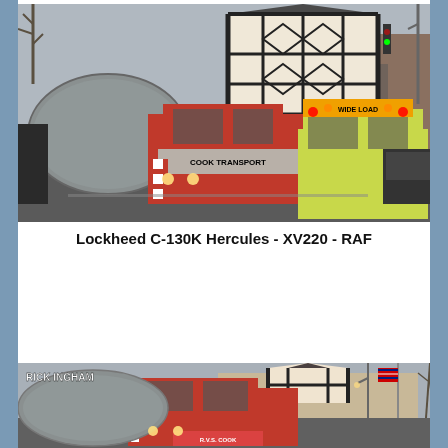[Figure (photo): A wide-load heavy transport truck (Cook Transport) carrying a large cylindrical aircraft fuselage component through a town street, past a black-and-white Tudor-style building. A 'WIDE LOAD' escort vehicle with flashing lights is visible on the right.]
Lockheed C-130K Hercules - XV220 - RAF
[Figure (photo): A second photo showing a similar scene with a heavy transport vehicle carrying aircraft components past a similar Tudor-style building. A 'RICK INGHAM' watermark is visible in the upper left corner. A flag is visible on a pole to the right.]